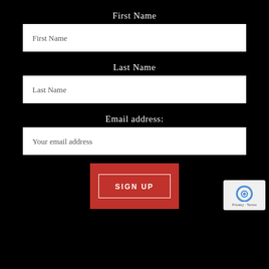First Name
First Name
Last Name
Last Name
Email address:
Your email address
SIGN UP
[Figure (logo): reCAPTCHA badge with blue arrows icon and Privacy/Terms text]